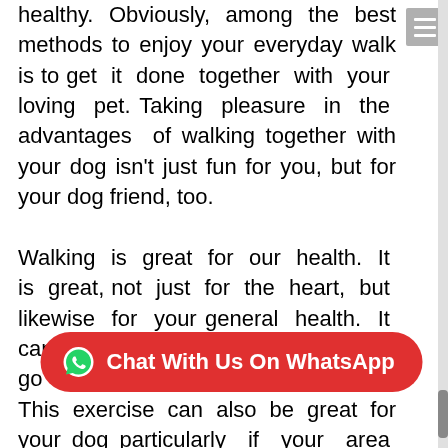healthy. Obviously, among the best methods to enjoy your everyday walk is to get it done together with your loving pet. Taking pleasure in the advantages of walking together with your dog isn't just fun for you, but for your dog friend, too.

Walking is great for our health. It is great, not just for the heart, but likewise for your general health. It can be done every day before you go to work or during weekends. This exercise can also be great for your dog particularly if your area isn't large enough for the pet to maneuver. Among the best advanta… dog would be to keep both you and your dog healthy.
[Figure (other): Red rounded rectangle button with WhatsApp icon and text 'Chat With Us On WhatsApp']